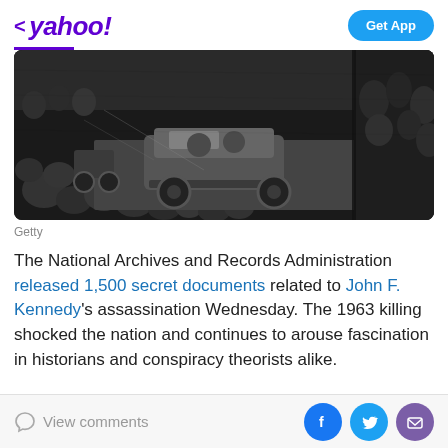< yahoo!   Get App
[Figure (photo): Black and white aerial photograph of JFK motorcade in Dallas, showing the presidential limousine surrounded by crowds and motorcycle escorts]
Getty
The National Archives and Records Administration released 1,500 secret documents related to John F. Kennedy's assassination Wednesday. The 1963 killing shocked the nation and continues to arouse fascination in historians and conspiracy theorists alike.
View comments